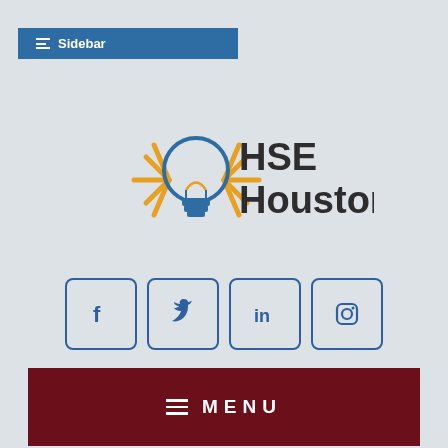≡ Sidebar
[Figure (logo): HSE Houston logo with lightbulb icon and orange ray lines]
[Figure (infographic): Social media icon buttons: Facebook, Twitter, LinkedIn, Instagram]
≡ MENU
[Figure (photo): Photo of a casino blackjack table with a dealer in a dark jacket]